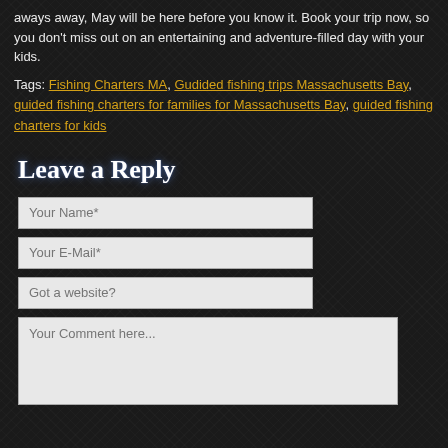aways away, May will be here before you know it. Book your trip now, so you don't miss out on an entertaining and adventure-filled day with your kids.
Tags: Fishing Charters MA, Gudided fishing trips Massachusetts Bay, guided fishing charters for families for Massachusetts Bay, guided fishing charters for kids
Leave a Reply
Your Name*
Your E-Mail*
Got a website?
Your Comment here...